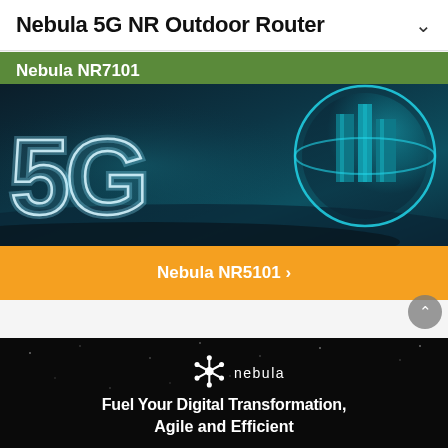Nebula 5G NR Outdoor Router
Nebula NR7101
[Figure (photo): 5G futuristic hero image with glowing '5G' text and a globe/city illustration on dark ocean background]
Nebula NR5101 ›
[Figure (photo): Dark background with Nebula logo and text 'Fuel Your Digital Transformation, Agile and Efficient']
Fuel Your Digital Transformation, Agile and Efficient